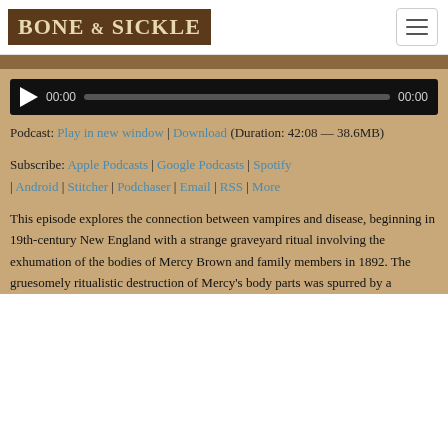[Figure (logo): Bone & Sickle logo — white serif text on dark brown background]
[Figure (screenshot): Audio player with play button, time display 00:00, progress bar, and end time 00:00 on black background]
Podcast: Play in new window | Download (Duration: 42:08 — 38.6MB)
Subscribe: Apple Podcasts | Google Podcasts | Spotify | Android | Stitcher | Podchaser | Email | RSS | More
This episode explores the connection between vampires and disease, beginning in 19th-century New England with a strange graveyard ritual involving the exhumation of the bodies of Mercy Brown and family members in 1892. The gruesomely ritualistic destruction of Mercy's body parts was spurred by a